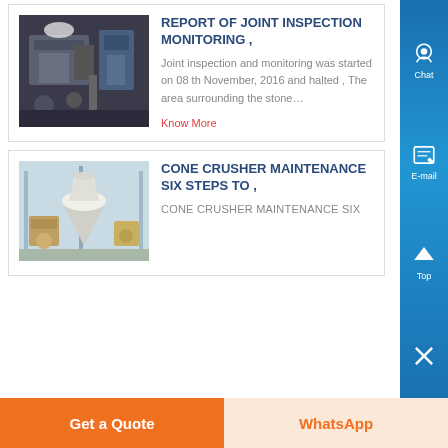[Figure (photo): Industrial machinery/equipment in a factory setting, dark/dimly lit]
REPORT OF JOINT INSPECTION MONITORING ,
Joint inspection and monitoring was started on 08 th November, 2016 and halted , The area surrounding the stone…
Know More
[Figure (photo): Cone crusher and milling equipment in an industrial facility]
CONE CRUSHER MAINTENANCE SIX STEPS TO ,
CONE CRUSHER MAINTENANCE SIX
Get a Quote
WhatsApp